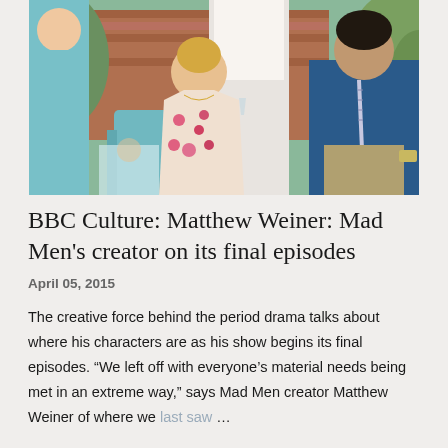[Figure (photo): Scene from Mad Men TV show: a woman in a floral dress sitting in a garden chair holding a cocktail glass, a man in a blue suit and striped tie sitting to the right, with a brick wall and greenery in the background. Partial figures of other characters visible.]
BBC Culture: Matthew Weiner: Mad Men's creator on its final episodes
April 05, 2015
The creative force behind the period drama talks about where his characters are as his show begins its final episodes. “We left off with everyone’s material needs being met in an extreme way,” says Mad Men creator Matthew Weiner of where we last saw …